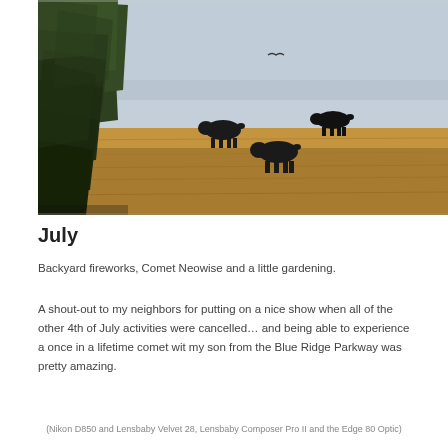[Figure (photo): Outdoor landscape photo showing a large evergreen tree on the left foreground, with golden/amber grass field in the mid-ground containing three black cattle silhouettes, a light grey-blue sky in the background, and a small bird visible in the upper center.]
July
Backyard fireworks, Comet Neowise and a little gardening.
A shout-out to my neighbors for putting on a nice show when all of the other 4th of July activities were cancelled... and being able to experience a once in a lifetime comet wit my son from the Blue Ridge Parkway was pretty amazing.
(Nikon D850 and Lensbaby Velvet 28, Lensbaby Composer Pro II and the Edge 80 Optic)